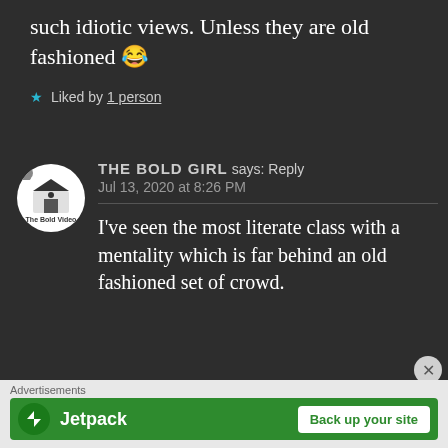such idiotic views. Unless they are old fashioned 😂
★ Liked by 1 person
THE BOLD GIRL says: Reply
Jul 13, 2020 at 8:26 PM
I've seen the most literate class with a mentality which is far behind an old fashioned set of crowd.
[Figure (other): Jetpack advertisement banner with logo and 'Back up your site' button]